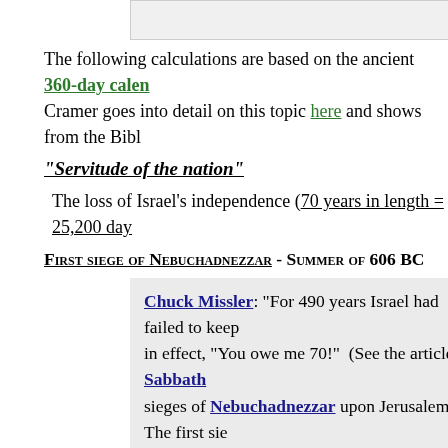The following calculations are based on the ancient 360-day calendar. Cramer goes into detail on this topic here and shows from the Bibl…
“Servitude of the nation”
The loss of Israel’s independence (70 years in length = 25,200 day…
First siege of Nebuchadnezzar - Summer of 606 BC
Chuck Missler: “For 490 years Israel had failed to keep… in effect, “You owe me 70!” (See the article Sabbath… sieges of Nebuchadnezzar upon Jerusalem. The first sie… was prophesied to last 70 years.”
2 Chronicles 36:20,21
And them that had escaped from the sword carr… were servants to him and his sons until the rei…